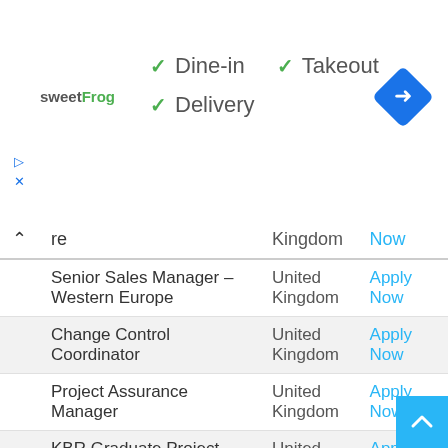[Figure (screenshot): sweetFrog logo and restaurant info banner showing Dine-in, Takeout, and Delivery options with checkmarks, navigation diamond icon, play and X icons]
|  | re | Kingdom | Now |
| --- | --- | --- | --- |
| Senior Sales Manager – Western Europe | United Kingdom | Apply Now |
| Change Control Coordinator | United Kingdom | Apply Now |
| Project Assurance Manager | United Kingdom | Apply Now |
| KBR Graduate Project Delivery Programme | United Kingdom | Apply Now |
| Learning from Experience Manager | United Kingdom | Apply Now |
| Environmental Liquid Effluent Coordinator | United Kingdom | Apply Now |